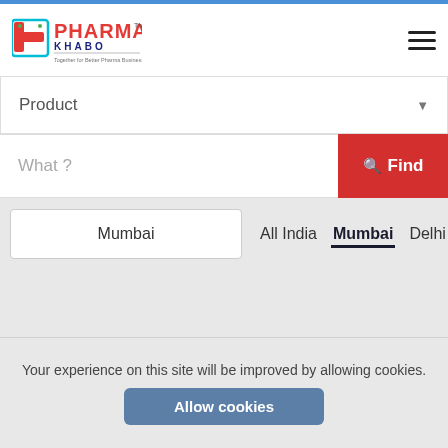[Figure (logo): PharmaKhabo logo with red/teal cross icon and text 'PHARMA KHABO TM - Together for Better Pharma Business']
Product
What ?
Find
Mumbai
All India
Mumbai
Delhi
Your experience on this site will be improved by allowing cookies.
Allow cookies